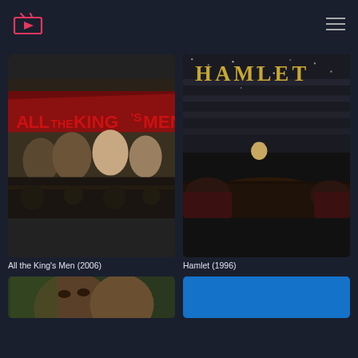Streaming app header with logo and hamburger menu
[Figure (screenshot): Movie poster for All the King's Men (2006) showing cast members and title text]
All the King's Men (2006)
[Figure (screenshot): Movie poster for Hamlet (1996) showing a figure on stage with golden HAMLET title text]
Hamlet (1996)
[Figure (photo): Partial movie poster at bottom left, cropped]
[Figure (screenshot): Partial movie poster at bottom right, blue background, cropped]